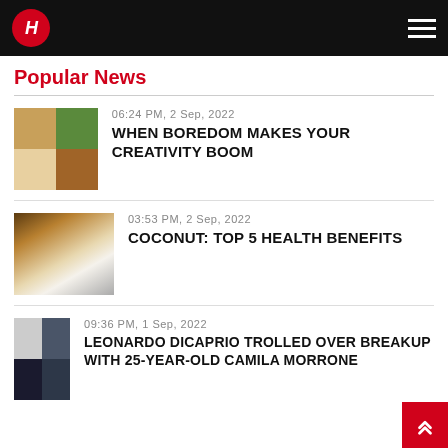Hi (logo) — header navigation
Popular News
[Figure (photo): Grid of four animal/creative photos: insect, plant stem, white bird on black shoes, brown snake]
06:24 PM, 2 Sep, 2022
WHEN BOREDOM MAKES YOUR CREATIVITY BOOM
[Figure (photo): Coconut halved with coconut flakes on dark background]
03:53 PM, 2 Sep, 2022
COCONUT: TOP 5 HEALTH BENEFITS
[Figure (photo): Woman in white t-shirt and jeans next to screenshot of social media and phone with graph]
09:36 PM, 1 Sep, 2022
LEONARDO DICAPRIO TROLLED OVER BREAKUP WITH 25-YEAR-OLD CAMILA MORRONE